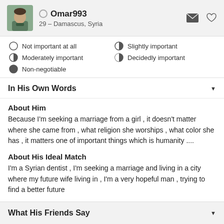Omar993 — 29 – Damascus, Syria
Not important at all
Slightly important
Moderately important
Decidedly important
Non-negotiable
In His Own Words
About Him
Because I'm seeking a marriage from a girl , it doesn't matter where she came from , what religion she worships , what color she has , it matters one of important things which is humanity ....
About His Ideal Match
I'm a Syrian dentist , I'm seeking a marriage and living in a city where my future wife living in , I'm a very hopeful man , trying to find a better future
What His Friends Say